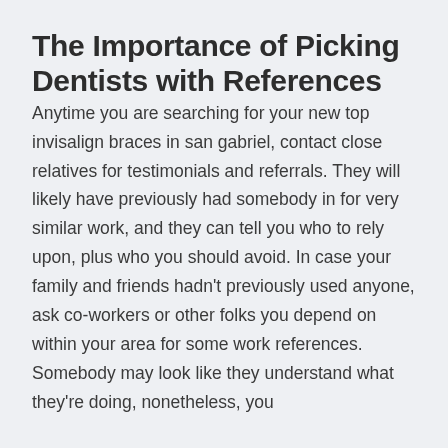The Importance of Picking Dentists with References
Anytime you are searching for your new top invisalign braces in san gabriel, contact close relatives for testimonials and referrals. They will likely have previously had somebody in for very similar work, and they can tell you who to rely upon, plus who you should avoid. In case your family and friends hadn't previously used anyone, ask co-workers or other folks you depend on within your area for some work references. Somebody may look like they understand what they're doing, nonetheless, you